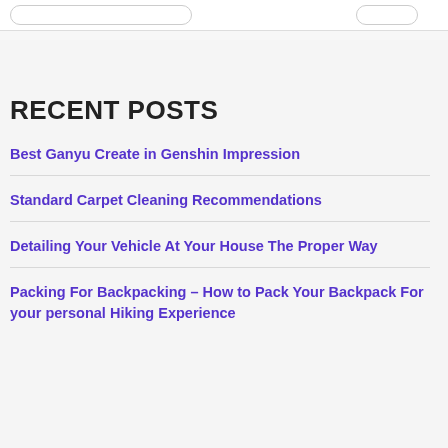RECENT POSTS
Best Ganyu Create in Genshin Impression
Standard Carpet Cleaning Recommendations
Detailing Your Vehicle At Your House The Proper Way
Packing For Backpacking – How to Pack Your Backpack For your personal Hiking Experience